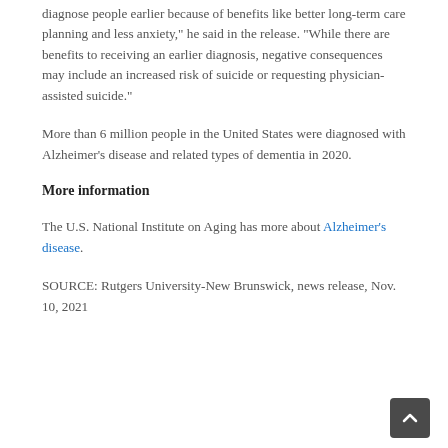diagnose people earlier because of benefits like better long-term care planning and less anxiety," he said in the release. "While there are benefits to receiving an earlier diagnosis, negative consequences may include an increased risk of suicide or requesting physician-assisted suicide."
More than 6 million people in the United States were diagnosed with Alzheimer's disease and related types of dementia in 2020.
More information
The U.S. National Institute on Aging has more about Alzheimer's disease.
SOURCE: Rutgers University-New Brunswick, news release, Nov. 10, 2021